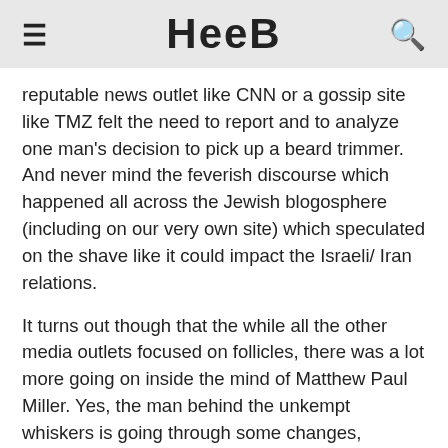Heeb
reputable news outlet like CNN or a gossip site like TMZ felt the need to report and to analyze one man's decision to pick up a beard trimmer. And never mind the feverish discourse which happened all across the Jewish blogosphere (including on our very own site) which speculated on the shave like it could impact the Israeli/ Iran relations.
It turns out though that the while all the other media outlets focused on follicles, there was a lot more going on inside the mind of Matthew Paul Miller. Yes, the man behind the unkempt whiskers is going through some changes, stylistically, aesthetically, philosophically, artistically, and religiously. And while it saddens me to see any charismatic and talented young Jewish role model struggle with his identity especially when his unprecedented example has meant and can mean so much to many in our small and insular community, ultimately, Matisyahu's struggle is very real and very much worth discussing.
With the release of the very commercial and radio-friendly album Spark Seeker, Matisyahu spoke to me about this little maelstrom